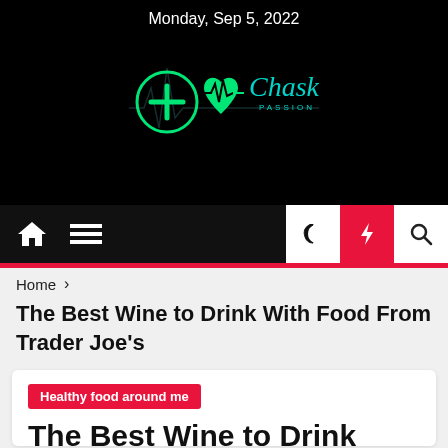Monday, Sep 5, 2022
[Figure (logo): Chaski Perut - Passion for Health logo with green medical cross and heart ECG icons on black background]
[Figure (infographic): Navigation bar with home, menu, moon, lightning, and search icons]
Home > The Best Wine to Drink With Food From Trader Joe's
The Best Wine to Drink With Food From Trader Joe's
Healthy food around me
The Best Wine to Drink